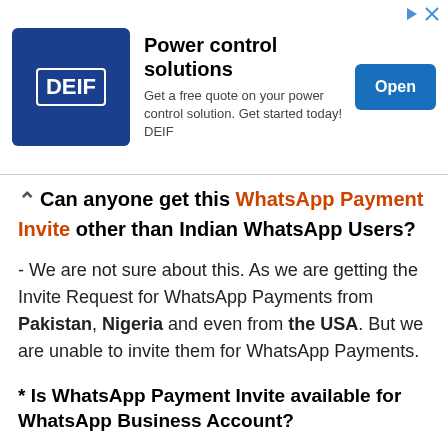[Figure (other): DEIF advertisement banner with logo, headline 'Power control solutions', description text, and Open button]
Can anyone get this WhatsApp Payment Invite other than Indian WhatsApp Users?
- We are not sure about this. As we are getting the Invite Request for WhatsApp Payments from Pakistan, Nigeria and even from the USA. But we are unable to invite them for WhatsApp Payments.
* Is WhatsApp Payment Invite available for WhatsApp Business Account?